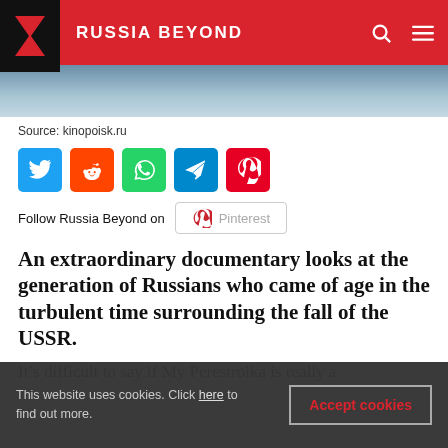RUSSIA BEYOND
[Figure (photo): Partial photo of people in white uniforms or coats, cropped at the header]
Source: kinopoisk.ru
[Figure (infographic): Social share icons: Twitter, Reddit, WhatsApp, Telegram, Pinterest]
Follow Russia Beyond on Pinterest
An extraordinary documentary looks at the generation of Russians who came of age in the turbulent time surrounding the fall of the USSR.
It’s difficult to say if My Perestroika is really a
This website uses cookies. Click here to find out more.
Accept cookies